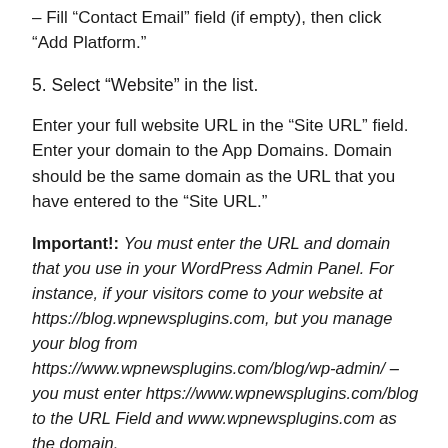– Fill “Contact Email” field (if empty), then click “Add Platform.”
5. Select “Website” in the list.
Enter your full website URL in the “Site URL” field. Enter your domain to the App Domains. Domain should be the same domain as the URL that you have entered to the “Site URL.”
Important!: You must enter the URL and domain that you use in your WordPress Admin Panel. For instance, if your visitors come to your website at https://blog.wpnewsplugins.com, but you manage your blog from https://www.wpnewsplugins.com/blog/wp-admin/ – you must enter https://www.wpnewsplugins.com/blog to the URL Field and www.wpnewsplugins.com as the domain.
Also, be sure to that www.wpnewsplu...